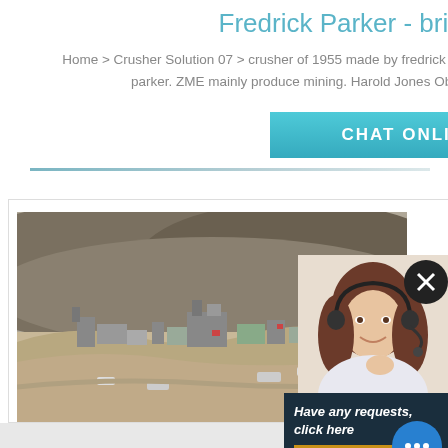Fredrick Parker - brindedetente.fr
Home > Crusher Solution 07 > crusher of 1955 made by fredrick parker Print Email crusher of 1955 made by fredrick parker. ZME mainly produce mining. Harold Jones Obituary, Aurora, CO :: Horan… McConaty
[Figure (screenshot): CHAT ONLINE button in teal/cyan color]
[Figure (photo): Aerial view of a mining site with industrial equipment and structures in a desert landscape]
[Figure (photo): Customer service woman with headset smiling, chat support overlay panel on right side with Have any requests click here, Quick Quote button, Enquiry link, and limingjlmofen@sina.com email]